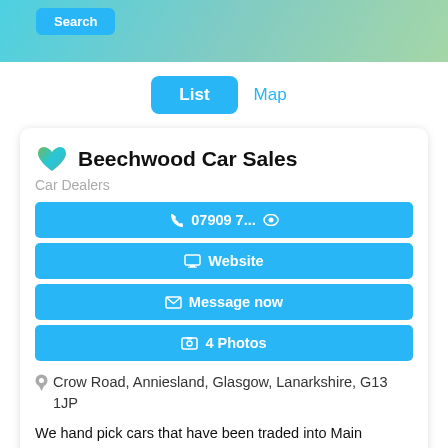[Figure (screenshot): Top gradient banner with Search button]
List  Map
Beechwood Car Sales
Car Dealers
📞 07909 7... 👁  Website  ✉ Message now  🖼 4 Photos
Crow Road, Anniesland, Glasgow, Lanarkshire, G13 1JP
We hand pick cars that have been traded into Main Dealers such as Clarks, Vardys and Macklin Motors. So we hand pick vehicles based...